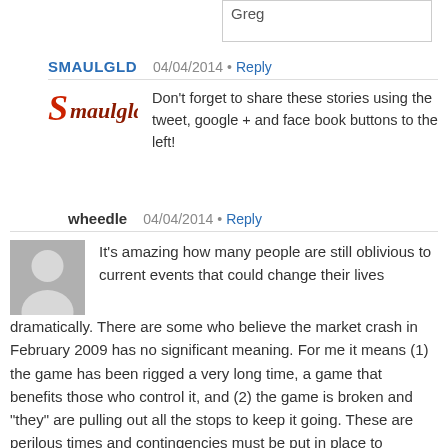Greg
SMAULGLD  04/04/2014 · Reply
Don't forget to share these stories using the tweet, google + and face book buttons to the left!
wheedle  04/04/2014 · Reply
It's amazing how many people are still oblivious to current events that could change their lives dramatically. There are some who believe the market crash in February 2009 has no significant meaning. For me it means (1) the game has been rigged a very long time, a game that benefits those who control it, and (2) the game is broken and “they” are pulling out all the stops to keep it going. These are perilous times and contingencies must be put in place to weather the storm.